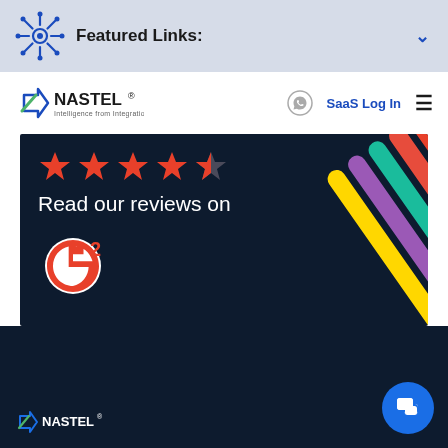Featured Links:
[Figure (logo): Nastel logo with tagline 'Intelligence from Integration' in navy header bar with SaaS Log In link and hamburger menu]
[Figure (infographic): Dark navy banner with 4.5 red stars, text 'Read our reviews on G2' with G2 logo and colorful diagonal bar chart graphic on right side]
[Figure (logo): Nastel logo partial at bottom of dark navy section with chat bubble button]